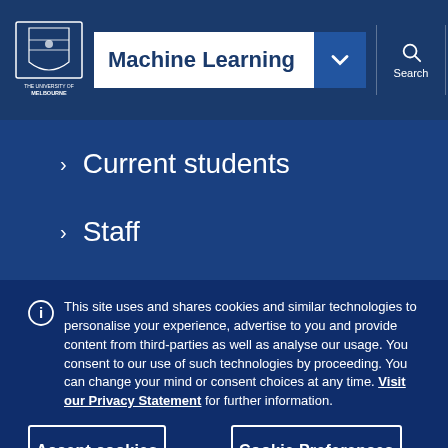[Figure (screenshot): University of Melbourne logo in top-left navigation bar]
Machine Learning
Current students
Staff
Alumni
This site uses and shares cookies and similar technologies to personalise your experience, advertise to you and provide content from third-parties as well as analyse our usage. You consent to our use of such technologies by proceeding. You can change your mind or consent choices at any time. Visit our Privacy Statement for further information.
Accept cookies
Cookie Preferences